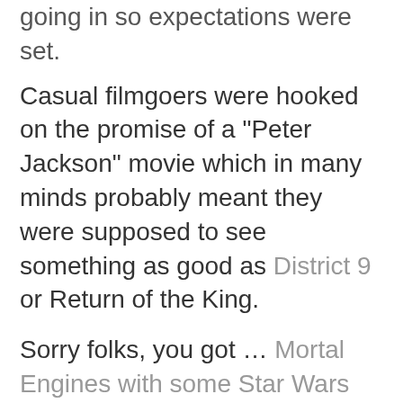going in so expectations were set.
Casual filmgoers were hooked on the promise of a "Peter Jackson" movie which in many minds probably meant they were supposed to see something as good as District 9 or Return of the King.
Sorry folks, you got ... Mortal Engines with some Star Wars plots thrown in.
And this for some reason upset a lot of people. It was criticized for borrowing ideas from a movie that famously borro
BACK TO TOP
from many other movies